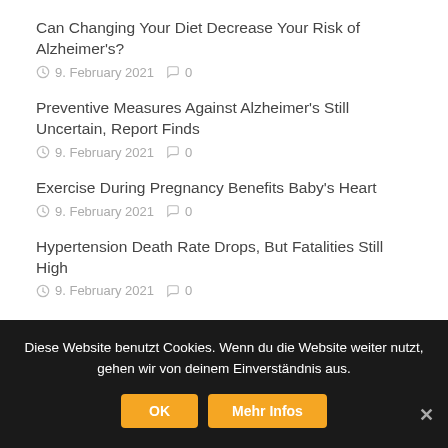Can Changing Your Diet Decrease Your Risk of Alzheimer's?
9. February 2021  0
Preventive Measures Against Alzheimer's Still Uncertain, Report Finds
9. February 2021  0
Exercise During Pregnancy Benefits Baby's Heart
9. February 2021  0
Hypertension Death Rate Drops, But Fatalities Still High
9. February 2021  0
Diese Website benutzt Cookies. Wenn du die Website weiter nutzt, gehen wir von deinem Einverständnis aus.